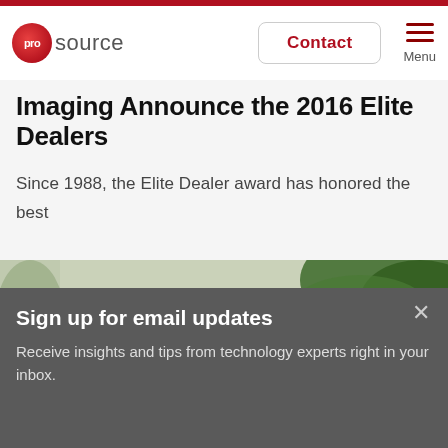prosource — Contact | Menu
Imaging Announce the 2016 Elite Dealers
Since 1988, the Elite Dealer award has honored the best and brightest of the office imaging dealer...
[Figure (photo): Woman in business attire looking down at an office imaging device, with a green plant in the background]
Sign up for email updates
Receive insights and tips from technology experts right in your inbox.